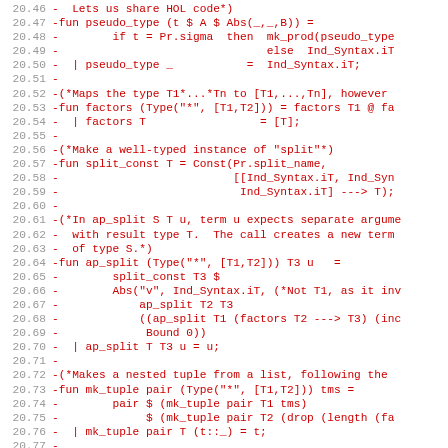[Figure (other): Source code listing in red monospace font with line numbers 20.46 through 20.77, showing ML/functional programming code related to HOL, pseudo_type, factors, split_const, ap_split, and mk_tuple functions.]